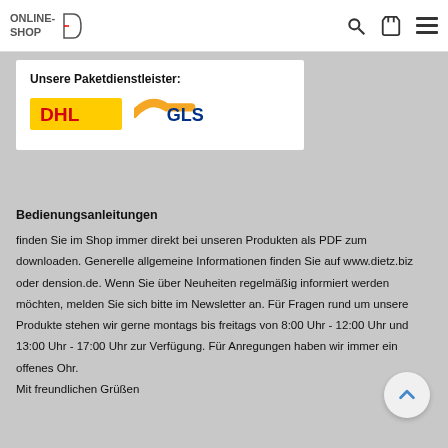ONLINE-SHOP
[Figure (logo): DHL and GLS parcel service provider logos with label 'Unsere Paketdienstleister:']
Bedienungsanleitungen
finden Sie im Shop immer direkt bei unseren Produkten als PDF zum downloaden. Generelle allgemeine Informationen finden Sie auf www.dietz.biz oder dension.de. Wenn Sie über Neuheiten regelmäßig informiert werden möchten, melden Sie sich bitte im Newsletter an. Für Fragen rund um unsere Produkte stehen wir gerne montags bis freitags von 8:00 Uhr - 12:00 Uhr und 13:00 Uhr - 17:00 Uhr zur Verfügung. Für Anregungen haben wir immer ein offenes Ohr.
Mit freundlichen Grüßen